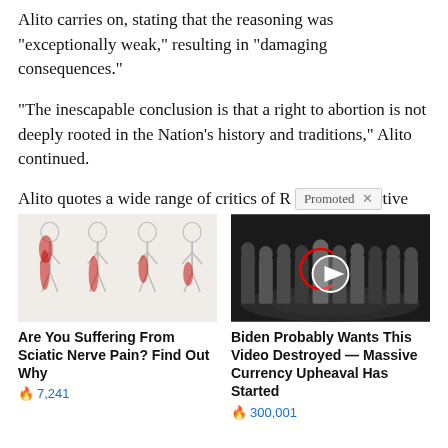Alito carries on, stating that the reasoning was "exceptionally weak," resulting in "damaging consequences."
"The inescapable conclusion is that a right to abortion is not deeply rooted in the Nation's history and traditions," Alito continued.
Alito quotes a wide range of critics of R... tive
[Figure (other): Promoted advertisement banner with two ad items: 1) Medical illustration of sciatic nerve pain with text 'Are You Suffering From Sciatic Nerve Pain? Find Out Why' and count 7,241. 2) Photo of group of men in suits with text 'Biden Probably Wants This Video Destroyed — Massive Currency Upheaval Has Started' and count 300,001.]